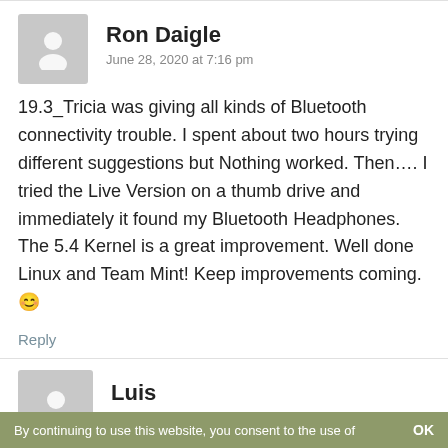Ron Daigle
June 28, 2020 at 7:16 pm
19.3_Tricia was giving all kinds of Bluetooth connectivity trouble. I spent about two hours trying different suggestions but Nothing worked. Then…. I tried the Live Version on a thumb drive and immediately it found my Bluetooth Headphones. The 5.4 Kernel is a great improvement. Well done Linux and Team Mint! Keep improvements coming. 😊
Reply
Luis
June 28, 2020 at 7:29 pm
By continuing to use this website, you consent to the use of   OK